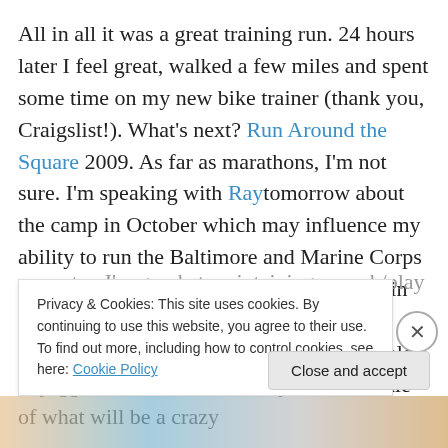All in all it was a great training run. 24 hours later I feel great, walked a few miles and spent some time on my new bike trainer (thank you, Craigslist!). What's next? Run Around the Square 2009. As far as marathons, I'm not sure. I'm speaking with Raytomorrow about the camp in October which may influence my ability to run the Baltimore and Marine Corps Marathons. There is so much I want to do in October, but even if all the events are on separate weekends, I'm not sure if I'd be able to juggle three weekends away in the middle of what will be a crazy semester. I'm good at maintaining a work/play balance
Privacy & Cookies: This site uses cookies. By continuing to use this website, you agree to their use.
To find out more, including how to control cookies, see here: Cookie Policy
Close and accept